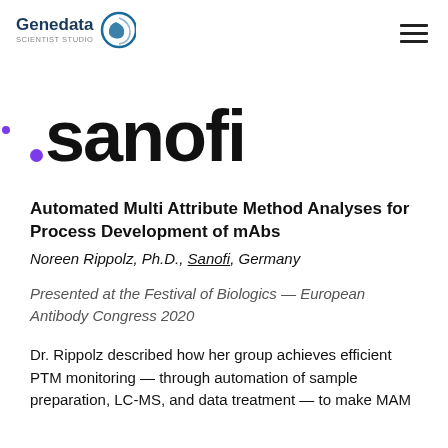Genedata [logo] | hamburger menu
[Figure (logo): Sanofi company logo in large bold black text with a purple dot before the 's' and a purple dot above the 'i']
Automated Multi Attribute Method Analyses for Process Development of mAbs
Noreen Rippolz, Ph.D., Sanofi, Germany
Presented at the Festival of Biologics — European Antibody Congress 2020
Dr. Rippolz described how her group achieves efficient PTM monitoring — through automation of sample preparation, LC-MS, and data treatment — to make MAM